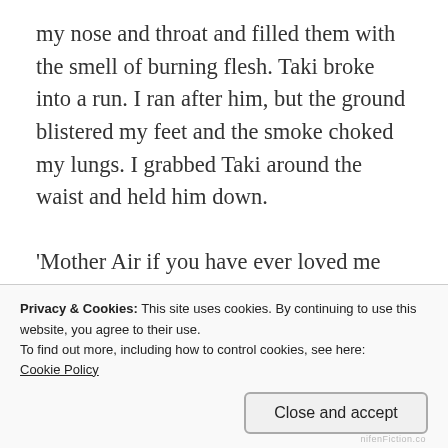my nose and throat and filled them with the smell of burning flesh. Taki broke into a run. I ran after him, but the ground blistered my feet and the smoke choked my lungs. I grabbed Taki around the waist and held him down.

'Mother Air if you have ever loved me help us now!' I cried. The oxygen left the flames and they died like a snuffed candle. Taki directed the river water to rain over the village. People came, coughing and retching from the smoke. Every one of them held a white blossom. A small girl
Privacy & Cookies: This site uses cookies. By continuing to use this website, you agree to their use.
To find out more, including how to control cookies, see here:
Cookie Policy
Close and accept